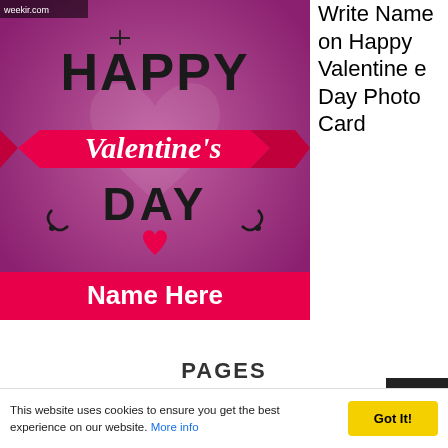[Figure (illustration): Happy Valentine's Day photo card with pink/purple background, large black text 'HAPPY' at top, pink ribbon banner with cursive 'Valentine's' in white, 'DAY' in large black text, a pink heart below, and a hot pink banner at bottom reading 'Name Here' in bold white text. Small 'weekir.com' watermark in top left corner.]
Write Name on Happy Valentine e Day Photo Card
PAGES
This website uses cookies to ensure you get the best experience on our website. More info